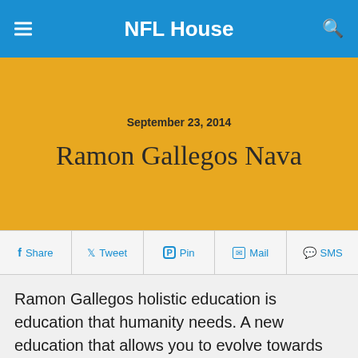NFL House
September 23, 2014
Ramon Gallegos Nava
Share  Tweet  Pin  Mail  SMS
Ramon Gallegos holistic education is education that humanity needs. A new education that allows you to evolve towards higher levels of thought and integrity, therefore we require a change of paradigm, a new way of seeing completely new education, comes to the human need of an evolutionary change, transform vertical, achieve a vision the holistic education